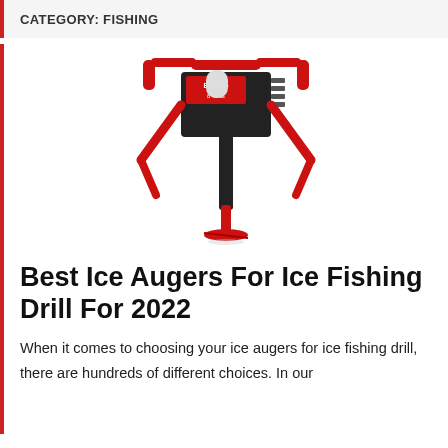CATEGORY: FISHING
[Figure (photo): A red and black gas-powered ice auger drill standing upright against a white background, with red handles and a red drill bit at the bottom.]
Best Ice Augers For Ice Fishing Drill For 2022
When it comes to choosing your ice augers for ice fishing drill, there are hundreds of different choices. In our